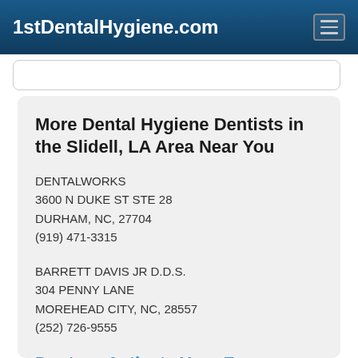1stDentalHygiene.com
More Dental Hygiene Dentists in the Slidell, LA Area Near You
DENTALWORKS
3600 N DUKE ST STE 28
DURHAM, NC, 27704
(919) 471-3315
BARRETT DAVIS JR D.D.S.
304 PENNY LANE
MOREHEAD CITY, NC, 28557
(252) 726-9555
Doctor - Activate Your Free 1stDentalHygiene Directory Listing
RAMESH DURVASULA DMD
345 CILLEY RD